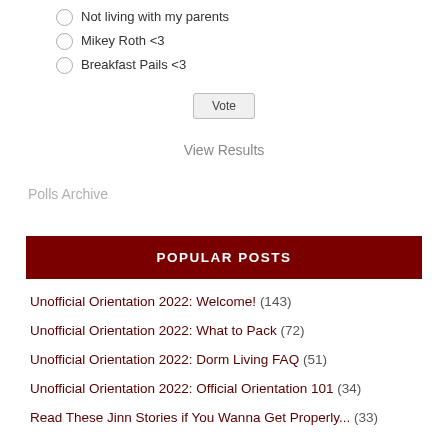Not living with my parents
Mikey Roth <3
Breakfast Pails <3
Vote
View Results
Polls Archive
POPULAR POSTS
Unofficial Orientation 2022: Welcome! (143)
Unofficial Orientation 2022: What to Pack (72)
Unofficial Orientation 2022: Dorm Living FAQ (51)
Unofficial Orientation 2022: Official Orientation 101 (34)
Read These Jinn Stories if You Wanna Get Properly... (33)